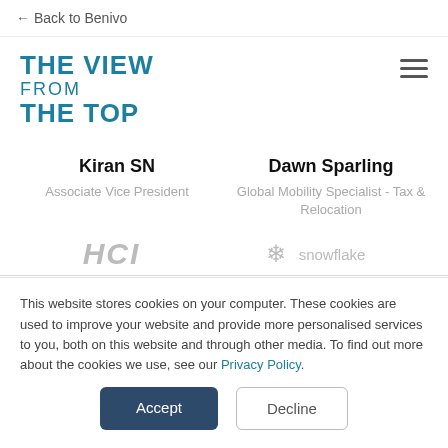← Back to Benivo
THE VIEW FROM THE TOP
Kiran SN
Associate Vice President
Dawn Sparling
Global Mobility Specialist - Tax & Relocation
[Figure (logo): HCI company logo in grey italic bold text]
[Figure (logo): Snowflake company logo with snowflake icon and text in grey]
This website stores cookies on your computer. These cookies are used to improve your website and provide more personalised services to you, both on this website and through other media. To find out more about the cookies we use, see our Privacy Policy.
Accept
Decline